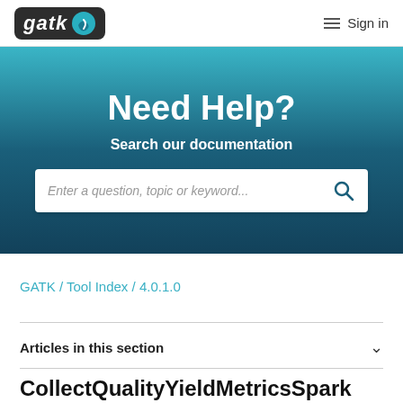gatk [logo] / Sign in
Need Help?
Search our documentation
Enter a question, topic or keyword...
GATK / Tool Index / 4.0.1.0
Articles in this section
CollectQualityYieldMetricsSpark